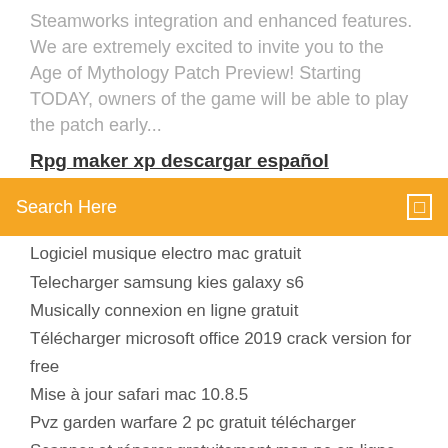Steamworks integration and enhanced features. We are extremely excited to invite you to the Age of Mythology Patch Preview! Starting TODAY, owners of the game will be able to play the patch early...
Rpg maker xp descargar español
Search Here
Logiciel musique electro mac gratuit
Telecharger samsung kies galaxy s6
Musically connexion en ligne gratuit
Télécharger microsoft office 2019 crack version for free
Mise à jour safari mac 10.8.5
Pvz garden warfare 2 pc gratuit télécharger
Scanner et réparer gratuitement mon pc en ligne
Sniper elite 2 final mission
Logiciel dessin maison gratuit en ligne
Mise a jour oreo a3 2019